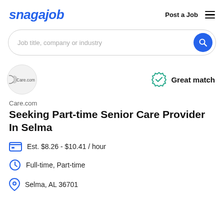[Figure (logo): Snagajob logo in blue italic bold text]
Post a Job
[Figure (illustration): Hamburger menu icon (three horizontal lines)]
Job title, company or industry
[Figure (logo): Care.com company logo inside a light grey circle]
Great match
Care.com
Seeking Part-time Senior Care Provider In Selma
Est. $8.26 - $10.41 / hour
Full-time, Part-time
Selma, AL 36701